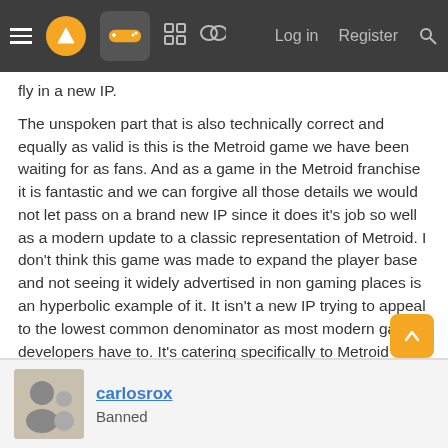≡  [logo]  [controller]  [grid]  [chat]  Log in  Register  [search]
fly in a new IP.
The unspoken part that is also technically correct and equally as valid is this is the Metroid game we have been waiting for as fans. And as a game in the Metroid franchise it is fantastic and we can forgive all those details we would not let pass on a brand new IP since it does it's job so well as a modern update to a classic representation of Metroid. I don't think this game was made to expand the player base and not seeing it widely advertised in non gaming places is an hyperbolic example of it. It isn't a new IP trying to appeal to the lowest common denominator as most modern game developers have to. It's catering specifically to Metroid fans who have been asking for a 2D Classic Metroid
carlosrox
Banned